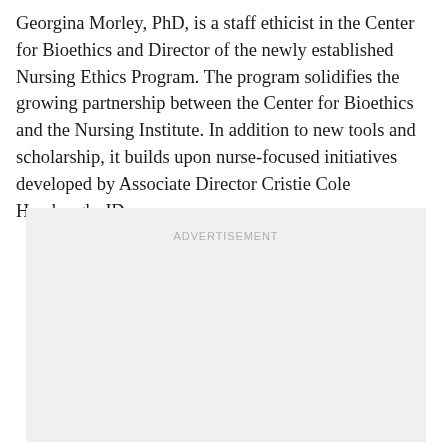Georgina Morley, PhD, is a staff ethicist in the Center for Bioethics and Director of the newly established Nursing Ethics Program. The program solidifies the growing partnership between the Center for Bioethics and the Nursing Institute. In addition to new tools and scholarship, it builds upon nurse-focused initiatives developed by Associate Director Cristie Cole Horsburgh, JD.
[Figure (other): Advertisement placeholder box with light gray background and centered 'ADVERTISEMENT' label text in light gray.]